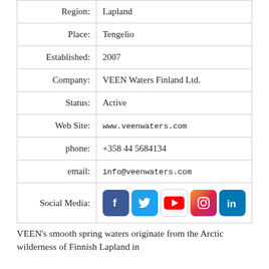| Label | Value |
| --- | --- |
| Region: | Lapland |
| Place: | Tengelio |
| Established: | 2007 |
| Company: | VEEN Waters Finland Ltd. |
| Status: | Active |
| Web Site: | www.veenwaters.com |
| phone: | +358 44 5684134 |
| email: | info@veenwaters.com |
| Social Media: | [Facebook, Twitter, YouTube, Instagram, LinkedIn icons] |
VEEN's smooth spring waters originate from the Arctic wilderness of Finnish Lapland in